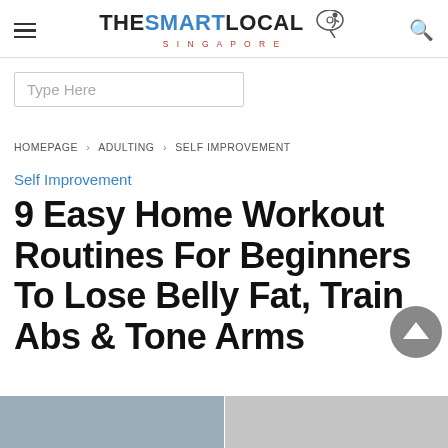THE SMART LOCAL SINGAPORE
Type Here
HOMEPAGE > ADULTING > SELF IMPROVEMENT
Self Improvement
9 Easy Home Workout Routines For Beginners To Lose Belly Fat, Train Abs & Tone Arms
[Figure (photo): Bottom strip with two small preview images partially visible]